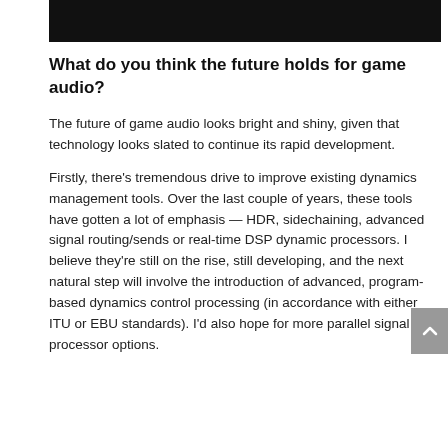[Figure (other): Black rectangular banner/header image at the top of the page]
What do you think the future holds for game audio?
The future of game audio looks bright and shiny, given that technology looks slated to continue its rapid development.
Firstly, there's tremendous drive to improve existing dynamics management tools. Over the last couple of years, these tools have gotten a lot of emphasis — HDR, sidechaining, advanced signal routing/sends or real-time DSP dynamic processors. I believe they're still on the rise, still developing, and the next natural step will involve the introduction of advanced, program-based dynamics control processing (in accordance with either ITU or EBU standards). I'd also hope for more parallel signal processor options.